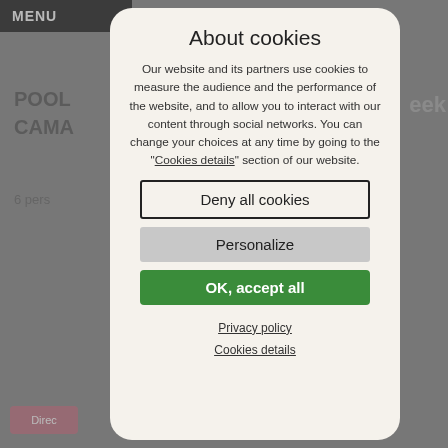[Figure (screenshot): Blurred website background showing MENU bar, partial text 'POOL' and 'CAMA', '6 pers' with bed icon, 'week' text, and a pink 'Direct' button. A cookie consent modal dialog overlays the center.]
About cookies
Our website and its partners use cookies to measure the audience and the performance of the website, and to allow you to interact with our content through social networks. You can change your choices at any time by going to the "Cookies details" section of our website.
Deny all cookies
Personalize
OK, accept all
Privacy policy
Cookies details